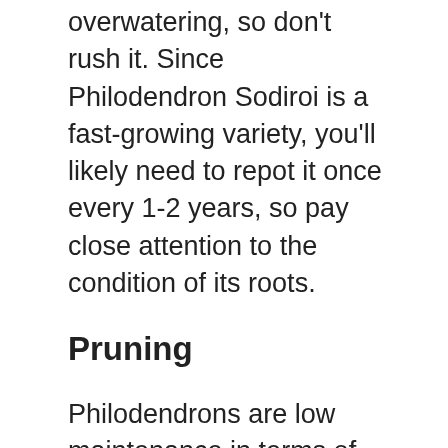overwatering, so don't rush it. Since Philodendron Sodiroi is a fast-growing variety, you'll likely need to repot it once every 1-2 years, so pay close attention to the condition of its roots.
Pruning
Philodendrons are low maintenance in terms of pruning as well. Unless you see damage or disease present in your plant, there's no reason to prune it.
To keep your plant healthy, carefully use a pair of clippers that have been sanitized with alcohol, to remove any damaged